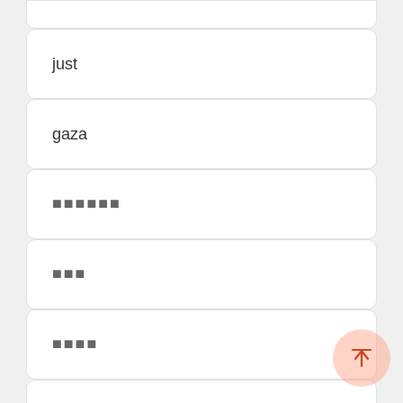just
gaza
▪▪▪▪▪▪
▪▪▪
▪▪▪▪
Facebook
▪▪▪